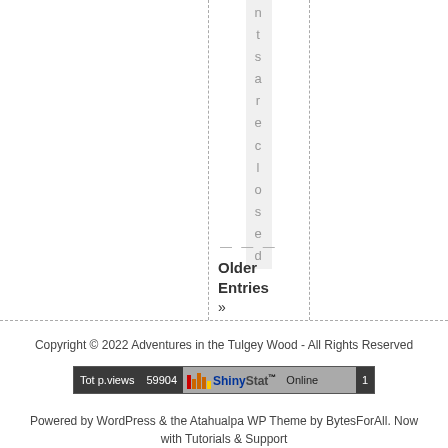nts are closed
— — —
Older Entries »
Copyright © 2022 Adventures in the Tulgey Wood - All Rights Reserved
[Figure (screenshot): ShinyStat web counter widget showing Tot p.views 59904 and Online 1]
Powered by WordPress & the Atahualpa WP Theme by BytesForAll. Now with Tutorials & Support